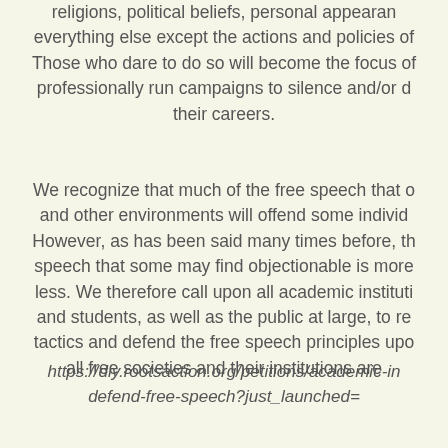religions, political beliefs, personal appearance, everything else except the actions and policies of Those who dare to do so will become the focus of professionally run campaigns to silence and/or d their careers.
We recognize that much of the free speech that o and other environments will offend some individ However, as has been said many times before, th speech that some may find objectionable is more less. We therefore call upon all academic institu and students, as well as the public at large, to re tactics and defend the free speech principles upo all free societies and their institutions are
https://diy.rootsaction.org/petitions/academic-in defend-free-speech?just_launched=